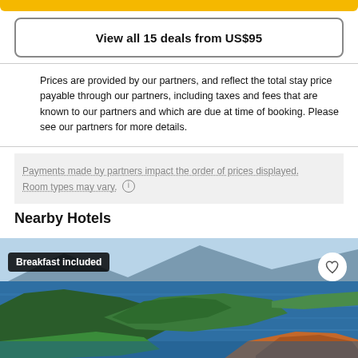[Figure (other): Yellow top bar / banner strip]
View all 15 deals from US$95
Prices are provided by our partners, and reflect the total stay price payable through our partners, including taxes and fees that are known to our partners and which are due at time of booking. Please see our partners for more details.
Payments made by partners impact the order of prices displayed. Room types may vary. ℹ
Nearby Hotels
[Figure (photo): Aerial view of a lake with forested islands, mountains in background, with 'Breakfast included' badge and heart/favorite icon]
Breakfast included